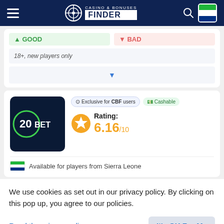Casino & Bonuses Finder
18+, new players only
[Figure (screenshot): 20Bet casino logo on dark blue background]
Exclusive for CBF users   Cashable
Rating: 6.16/10
Available for players from Sierra Leone
We use cookies as set out in our privacy policy. By clicking on this pop up, you agree to our policies.
Read the privacy policy
It's OK For Me